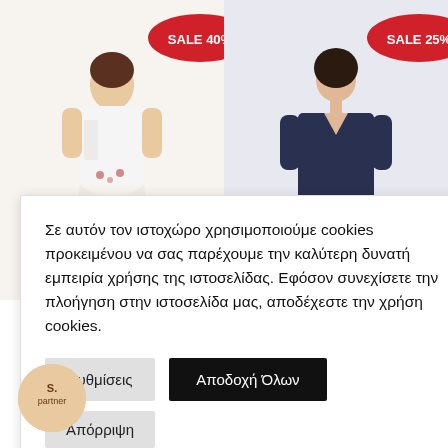[Figure (photo): Woman in white embroidered top, product photo with SALE 40% badge]
[Figure (photo): Woman in navy blue dress with fringe hem and belt, product photo with SALE 25% badge, label: ΦΟΡΕΜΑ ΜΕ ΚΡΟΣΣΙΑ]
Σε αυτόν τον ιστοχώρο χρησιμοποιούμε cookies προκειμένου να σας παρέχουμε την καλύτερη δυνατή εμπειρία χρήσης της ιστοσελίδας. Εφόσον συνεχίσετε την πλοήγηση στην ιστοσελίδα μας, αποδέχεστε την χρήση cookies.
Ρυθμίσεις
Αποδοχή Όλων
Απόρριψη
[Figure (logo): partner logo circular badge]
[Figure (photo): Woman product photo bottom left]
[Figure (photo): Woman product photo bottom right with SALE 25% badge]